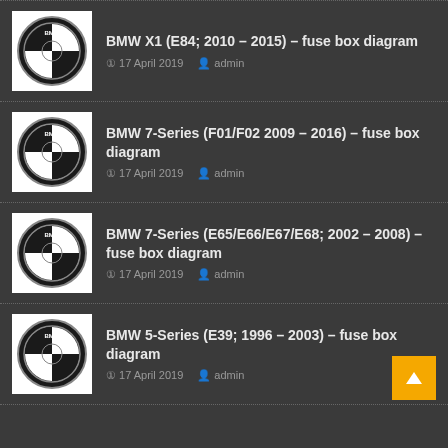BMW X1 (E84; 2010 – 2015) – fuse box diagram
17 April 2019  admin
BMW 7-Series (F01/F02 2009 – 2016) – fuse box diagram
17 April 2019  admin
BMW 7-Series (E65/E66/E67/E68; 2002 – 2008) – fuse box diagram
17 April 2019  admin
BMW 5-Series (E39; 1996 – 2003) – fuse box diagram
17 April 2019  admin